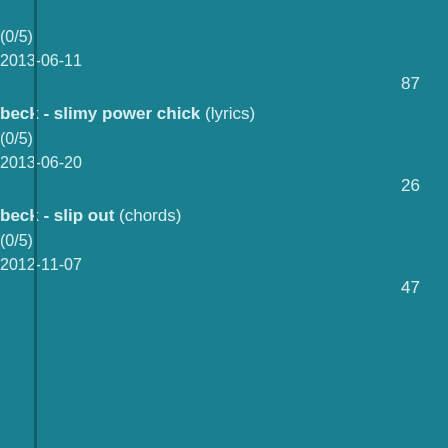(0/5)
2013-06-11
87
beck - slimy power chick (lyrics)
(0/5)
2013-06-20
26
beck - slip out (chords)
(0/5)
2012-11-07
47